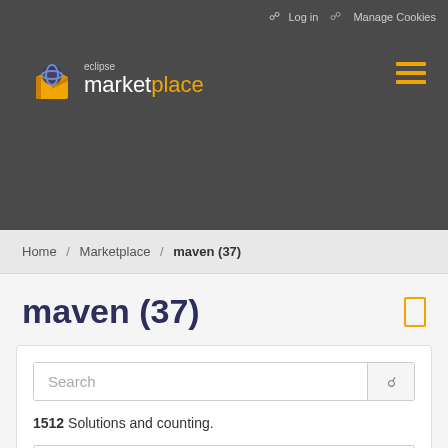Log in   Manage Cookies
[Figure (logo): Eclipse Marketplace logo with orange icon and text]
Home / Marketplace / maven (37)
maven (37)
Search
1512 Solutions and counting.
All Solutions Categories
All Markets